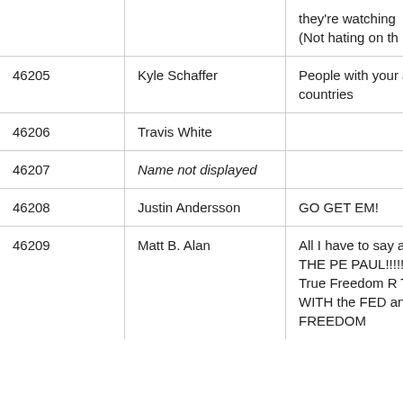| ID | Name | Comment |
| --- | --- | --- |
|  |  | they're watching (Not hating on th |
| 46205 | Kyle Schaffer | People with your are this countries |
| 46206 | Travis White |  |
| 46207 | Name not displayed |  |
| 46208 | Justin Andersson | GO GET EM! |
| 46209 | Matt B. Alan | All I have to say and WE THE PE PAUL!!!!! For all y True Freedom R TRIUMPH WITH the FED and RE AND FREEDOM |